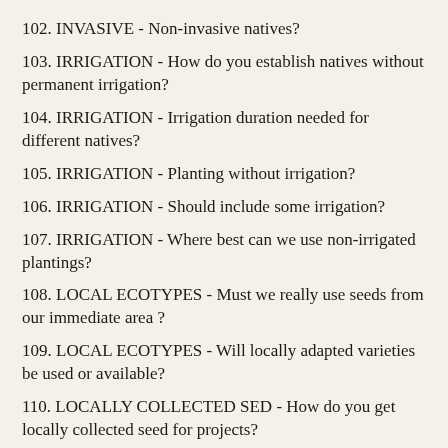102. INVASIVE - Non-invasive natives?
103. IRRIGATION - How do you establish natives without permanent irrigation?
104. IRRIGATION - Irrigation duration needed for different natives?
105. IRRIGATION - Planting without irrigation?
106. IRRIGATION - Should include some irrigation?
107. IRRIGATION - Where best can we use non-irrigated plantings?
108. LOCAL ECOTYPES - Must we really use seeds from our immediate area ?
109. LOCAL ECOTYPES - Will locally adapted varieties be used or available?
110. LOCALLY COLLECTED SED - How do you get locally collected seed for projects?
111. LOW GROWING - Low growth height natives?